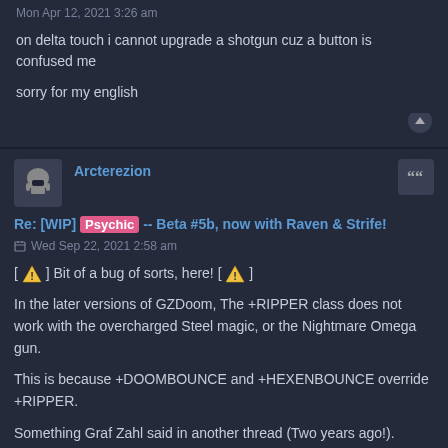Mon Apr 12, 2021 3:26 am
on delta touch i cannot upgrade a shotgun cuz a button is confused me
sorry for my english
Arcterezion
Re: [WIP] Psychic -- Beta #5b, now with Raven & Strife!
Wed Sep 22, 2021 2:58 am
[ ⚠ ] Bit of a bug of sorts, here! [ ⚠ ]
In the later versions of GZDoom, The +RIPPER class does not work with the overcharged Steel magic, or the Nightmare Omega gun.
This is because +DOOMBOUNCE and +HEXENBOUNCE override +RIPPER.
Something Graf Zahl said in another thread (Two years ago!).
Bouncing will override ripping, if bouncing on actors is enabled. The recent change only added handling for one overlooked case when